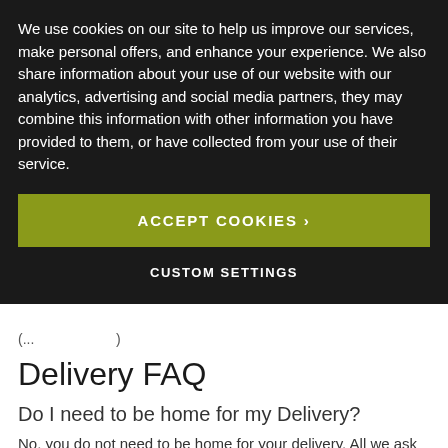We use cookies on our site to help us improve our services, make personal offers, and enhance your experience. We also share information about your use of our website with our analytics, advertising and social media partners, they may combine this information with other information you have provided to them, or have collected from your use of their service.
ACCEPT COOKIES >
CUSTOM SETTINGS
(
Delivery FAQ
Do I need to be home for my Delivery?
No, you do not need to be home for your delivery. All we ask is that you let us know via email or signed note to let us know